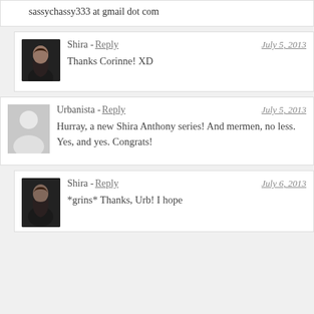sassychassy333 at gmail dot com
Shira - Reply  July 5, 2013
Thanks Corinne! XD
Urbanista - Reply  July 5, 2013
Hurray, a new Shira Anthony series! And mermen, no less. Yes, and yes. Congrats!
Shira - Reply  July 6, 2013
*grins* Thanks, Urb! I hope